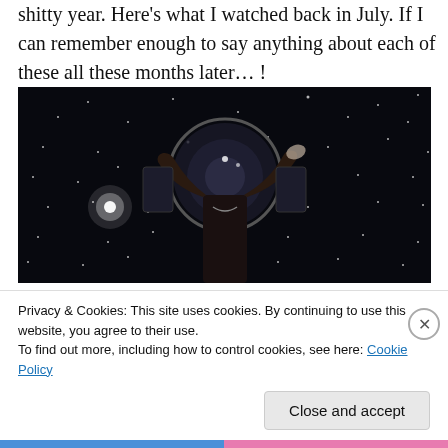shitty year. Here's what I watched back in July. If I can remember enough to say anything about each of these all these months later… !
[Figure (photo): Dark cinematic still showing a person from behind with arms raised, wearing a sleeveless top, facing a large circular porthole/window, surrounded by star-like lights on a dark background]
Privacy & Cookies: This site uses cookies. By continuing to use this website, you agree to their use.
To find out more, including how to control cookies, see here: Cookie Policy